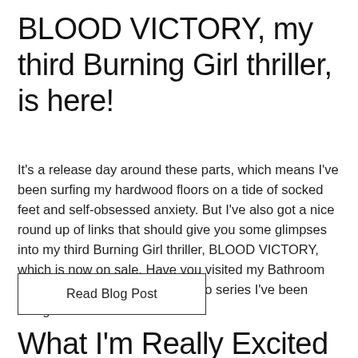BLOOD VICTORY, my third Burning Girl thriller, is here!
It's a release day around these parts, which means I've been surfing my hardwood floors on a tide of socked feet and self-obsessed anxiety. But I've also got a nice round up of links that should give you some glimpses into my third Burning Girl thriller, BLOOD VICTORY, which is now on sale. Have you visited my Bathroom Bookstore? It's the ongoing video series I've been doing ever since the ...
Read Blog Post
What I'm Really Excited